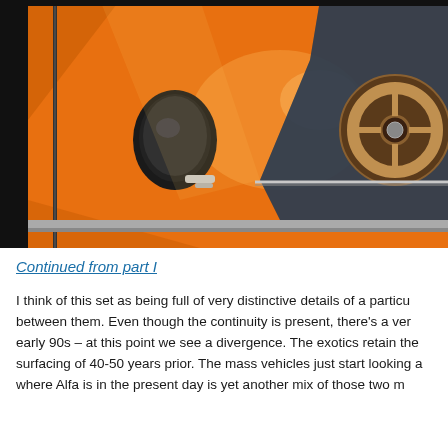[Figure (photo): Close-up photo of an orange classic car, showing the door panel, side mirror (round, black), and a wooden steering wheel visible through the window. The body is bright orange with chrome trim details. Dark background surrounds the image.]
Continued from part I
I think of this set as being full of very distinctive details of a particu between them. Even though the continuity is present, there's a ver early 90s – at this point we see a divergence. The exotics retain the surfacing of 40-50 years prior. The mass vehicles just start looking a where Alfa is in the present day is yet another mix of those two m